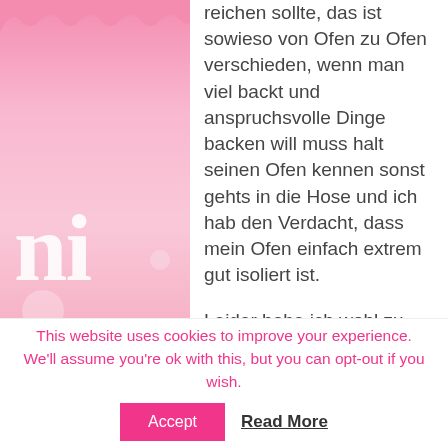[Figure (illustration): Pink decorative blog page background with scallop/wave top border on left and right sides, large white decorative letters 'ni' on left and 'an' on right, decorative circle, pink gradient background on sides]
reichen sollte, das ist sowieso von Ofen zu Ofen verschieden, wenn man viel backt und anspruchsvolle Dinge backen will muss halt seinen Ofen kennen sonst gehts in die Hose und ich hab den Verdacht, dass mein Ofen einfach extrem gut isoliert ist.

Leider habe ich wohl zu wenig Wasser genommen dieses Mal, so dass am Ende sehr wenig Wasser übrig war. Dadurch ist der Kuchen etwas...
This website uses cookies to improve your experience. We'll assume you're ok with this, but you can opt-out if you wish.
Accept
Read More